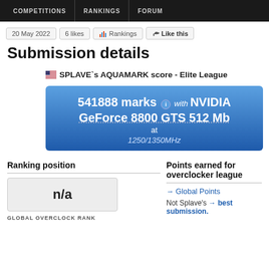COMPETITIONS   RANKINGS   FORUM
20 May 2022   6 likes   Rankings   Like this
Submission details
🇺🇸 SPLAVE`s AQUAMARK score - Elite League
[Figure (infographic): Blue gradient score box showing: 541888 marks with NVIDIA GeForce 8800 GTS 512 Mb at 1250/1350MHz]
Ranking position
Points earned for overclocker league
n/a
→ Global Points
Not Splave's → best submission.
GLOBAL OVERCLOCK RANK